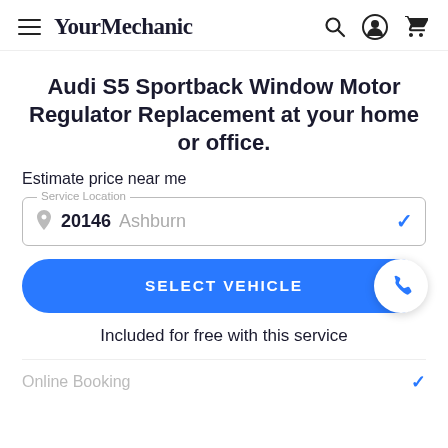YourMechanic
Audi S5 Sportback Window Motor Regulator Replacement at your home or office.
Estimate price near me
Service Location
20146  Ashburn
SELECT VEHICLE
Included for free with this service
Online Booking